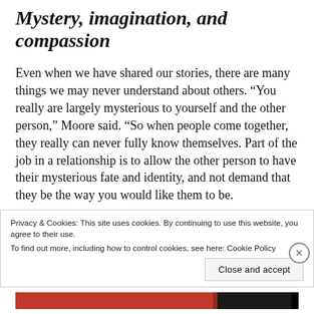Mystery, imagination, and compassion
Even when we have shared our stories, there are many things we may never understand about others. “You really are largely mysterious to yourself and the other person,” Moore said. “So when people come together, they really can never fully know themselves. Part of the job in a relationship is to allow the other person to have their mysterious fate and identity, and not demand that they be the way you would like them to be.
Privacy & Cookies: This site uses cookies. By continuing to use this website, you agree to their use.
To find out more, including how to control cookies, see here: Cookie Policy
Close and accept